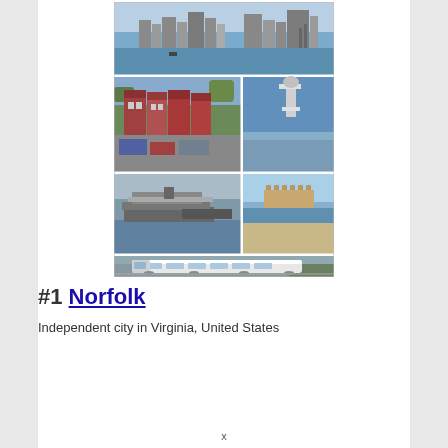[Figure (photo): Collage of photos of Norfolk, Virginia: top row shows waterfront skyline, middle row shows Victorian rowhouses and a naval vessel/sculpture, lower row shows aircraft carriers and a beach pier, bottom row shows a light rail transit train.]
#1 Norfolk
Independent city in Virginia, United States